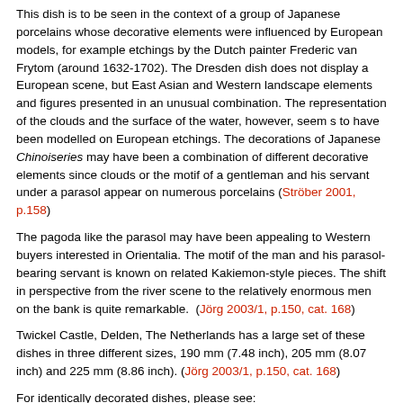This dish is to be seen in the context of a group of Japanese porcelains whose decorative elements were influenced by European models, for example etchings by the Dutch painter Frederic van Frytom (around 1632-1702). The Dresden dish does not display a European scene, but East Asian and Western landscape elements and figures presented in an unusual combination. The representation of the clouds and the surface of the water, however, seem s to have been modelled on European etchings. The decorations of Japanese Chinoiseries may have been a combination of different decorative elements since clouds or the motif of a gentleman and his servant under a parasol appear on numerous porcelains (Ströber 2001, p.158)
The pagoda like the parasol may have been appealing to Western buyers interested in Orientalia. The motif of the man and his parasol-bearing servant is known on related Kakiemon-style pieces. The shift in perspective from the river scene to the relatively enormous men on the bank is quite remarkable.  (Jörg 2003/1, p.150, cat. 168)
Twickel Castle, Delden, The Netherlands has a large set of these dishes in three different sizes, 190 mm (7.48 inch), 205 mm (8.07 inch) and 225 mm (8.86 inch). (Jörg 2003/1, p.150, cat. 168)
For identically decorated dishes, please see:
La maladie de porcelaine..., East Asian Porcelain from